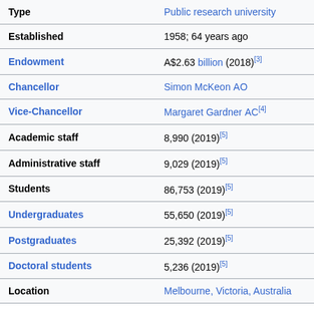| Field | Value |
| --- | --- |
| Type | Public research university |
| Established | 1958; 64 years ago |
| Endowment | A$2.63 billion (2018)[3] |
| Chancellor | Simon McKeon AO |
| Vice-Chancellor | Margaret Gardner AC[4] |
| Academic staff | 8,990 (2019)[5] |
| Administrative staff | 9,029 (2019)[5] |
| Students | 86,753 (2019)[5] |
| Undergraduates | 55,650 (2019)[5] |
| Postgraduates | 25,392 (2019)[5] |
| Doctoral students | 5,236 (2019)[5] |
| Location | Melbourne, Victoria, Australia |